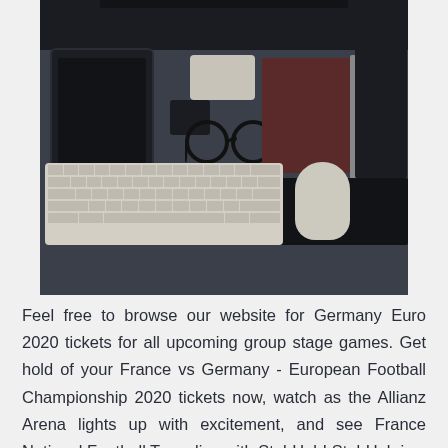[Figure (photo): Top-down flat lay photo of a dark desk with Apple devices and accessories: large monitor at top, tablet on left, keyboard and magic mouse at bottom, glasses, small black box, red-brown notebook, pen, black notebook, watch, and a drawing tablet.]
Feel free to browse our website for Germany Euro 2020 tickets for all upcoming group stage games. Get hold of your France vs Germany - European Football Championship 2020 tickets now, watch as the Allianz Arena lights up with excitement, and see France National Football Team live with StubHub! StubHub is